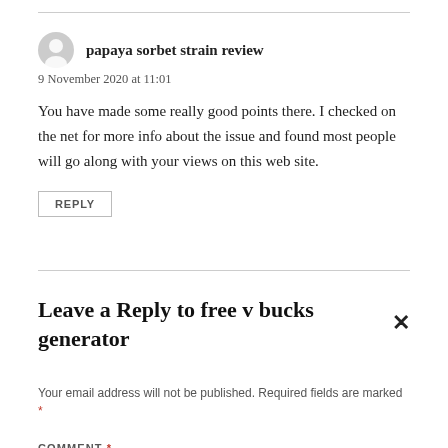papaya sorbet strain review
9 November 2020 at 11:01
You have made some really good points there. I checked on the net for more info about the issue and found most people will go along with your views on this web site.
REPLY
Leave a Reply to free v bucks generator
Your email address will not be published. Required fields are marked *
COMMENT *